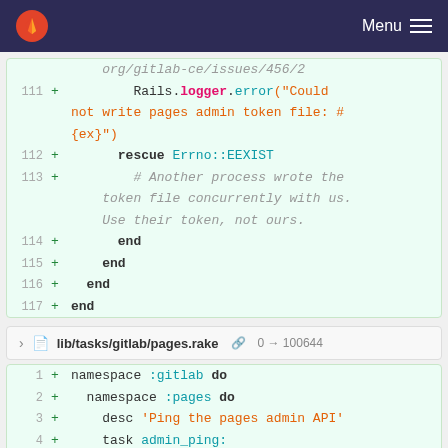Menu
[Figure (screenshot): GitLab code diff view showing Ruby/Rake code additions. Top block shows lines 111-117 of a Ruby file with Rails.logger.error and rescue Errno::EEXIST handling. Bottom block shows lib/tasks/gitlab/pages.rake file header and lines 1-5 with namespace :gitlab, namespace :pages, desc, task admin_ping definitions.]